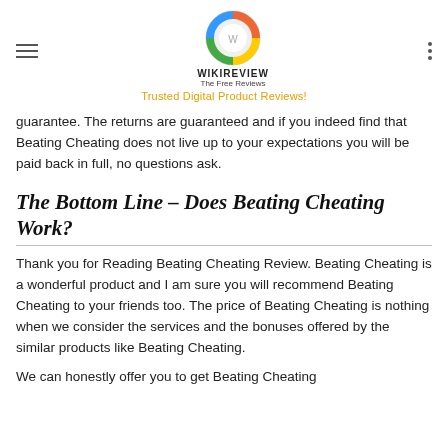WIKIREVIEW The Free Reviews — Trusted Digital Product Reviews!
guarantee. The returns are guaranteed and if you indeed find that Beating Cheating does not live up to your expectations you will be paid back in full, no questions ask.
The Bottom Line – Does Beating Cheating Work?
Thank you for Reading Beating Cheating Review. Beating Cheating is a wonderful product and I am sure you will recommend Beating Cheating to your friends too. The price of Beating Cheating is nothing when we consider the services and the bonuses offered by the similar products like Beating Cheating.
We can honestly offer you to get Beating Cheating